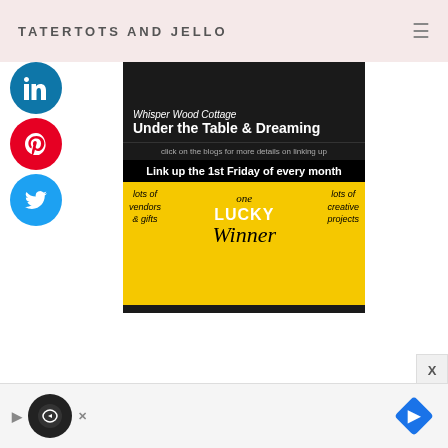TATERTOTS AND JELLO
[Figure (screenshot): Social media share buttons: LinkedIn (blue circle), Pinterest (red circle), Twitter (blue circle)]
[Figure (screenshot): Blog link-up promotional image. Top black section reads 'Whisper Wood Cottage' and 'Under the Table & Dreaming' with 'click on the blogs for more details on linking up'. Yellow section reads 'Link up the 1st Friday of every month' with 'lots of vendors & gifts', 'one LUCKY Winner', 'lots of creative projects'.]
[Figure (screenshot): Bottom advertisement bar with play icon, circular logo, and navigation arrow diamond icon]